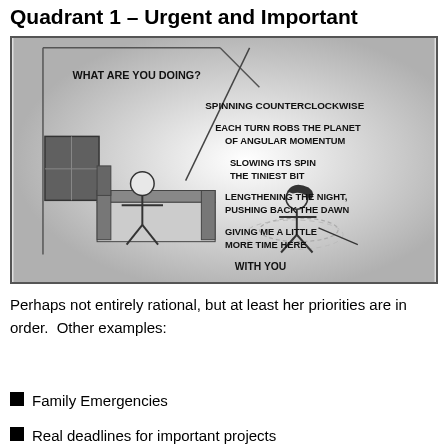Quadrant 1 – Urgent and Important
[Figure (illustration): XKCD-style webcomic showing a stick figure spinning counterclockwise on the floor of a bedroom while another stick figure sits on the bed watching. Text labels read: 'WHAT ARE YOU DOING?', 'SPINNING COUNTERCLOCKWISE', 'EACH TURN ROBS THE PLANET OF ANGULAR MOMENTUM', 'SLOWING ITS SPIN THE TINIEST BIT', 'LENGTHENING THE NIGHT, PUSHING BACK THE DAWN', 'GIVING ME A LITTLE MORE TIME HERE', 'WITH YOU']
Perhaps not entirely rational, but at least her priorities are in order.  Other examples:
Family Emergencies
Real deadlines for important projects